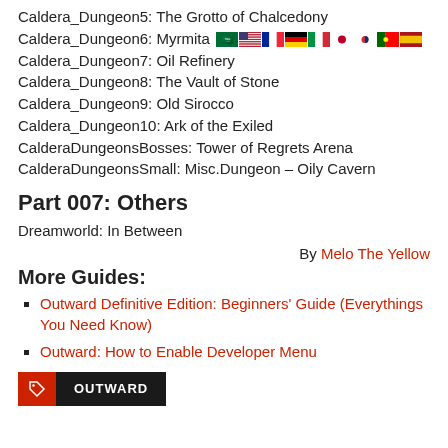Caldera_Dungeon5: The Grotto of Chalcedony
Caldera_Dungeon6: Myrmita [flags]
Caldera_Dungeon7: Oil Refinery
Caldera_Dungeon8: The Vault of Stone
Caldera_Dungeon9: Old Sirocco
Caldera_Dungeon10: Ark of the Exiled
CalderaDungeonsBosses: Tower of Regrets Arena
CalderaDungeonsSmall: Misc.Dungeon – Oily Cavern
Part 007: Others
Dreamworld: In Between
By Melo The Yellow
More Guides:
Outward Definitive Edition: Beginners' Guide (Everythings You Need Know)
Outward: How to Enable Developer Menu
OUTWARD